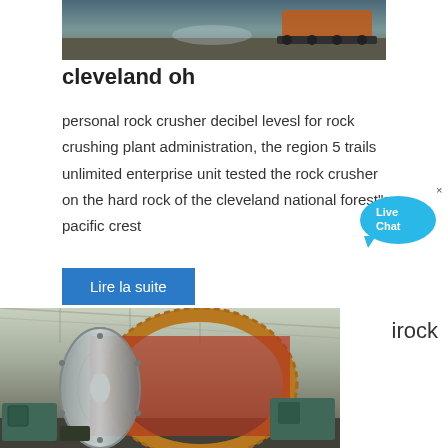[Figure (photo): Partial photo of a rock crushing machine/crawler equipment at a quarry site, seen from above with gravel ground visible.]
cleveland oh
personal rock crusher decibel levesl for rock crushing plant administration, the region 5 trails unlimited enterprise unit tested the rock crusher on the hard rock of the cleveland national forest"s pacific crest
[Figure (other): Live Chat speech bubble icon in cyan/blue tones]
Lire la suite
[Figure (photo): Industrial ball mill machinery inside a large factory/warehouse. Large red circular gear ring visible with silver drum, teal motor units on sides, steel roof structure visible in background.]
irock